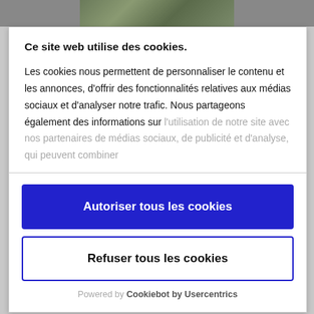[Figure (photo): Partial photo strip at top of page, partially visible]
Ce site web utilise des cookies.
Les cookies nous permettent de personnaliser le contenu et les annonces, d'offrir des fonctionnalités relatives aux médias sociaux et d'analyser notre trafic. Nous partageons également des informations sur l'utilisation de notre site avec nos partenaires de médias sociaux, de publicité et d'analyse, qui peuvent combiner
Autoriser tous les cookies
Refuser tous les cookies
Powered by Cookiebot by Usercentrics